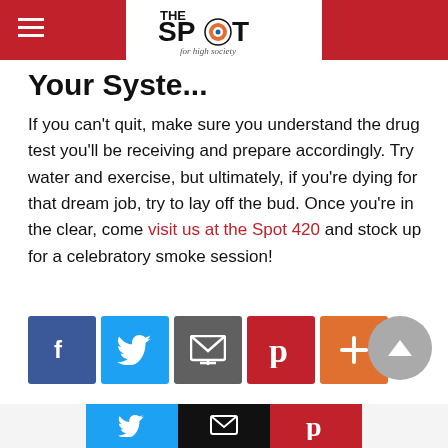The Spot - for high society (logo)
Your Syst...
If you can't quit, make sure you understand the drug test you'll be receiving and prepare accordingly. Try water and exercise, but ultimately, if you're dying for that dream job, try to lay off the bud. Once you're in the clear, come visit us at the Spot 420 and stock up for a celebratory smoke session!
[Figure (infographic): Social share buttons: Facebook, Twitter, Email, Pinterest, Plus]
Next Read: Cannabis Decarboxylation 101 »
Bottom bar with Twitter, Email, Pinterest share buttons